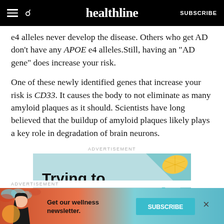healthline | SUBSCRIBE
e4 alleles never develop the disease. Others who get AD don't have any APOE e4 alleles.Still, having an "AD gene" does increase your risk.
One of these newly identified genes that increase your risk is CD33. It causes the body to not eliminate as many amyloid plaques as it should. Scientists have long believed that the buildup of amyloid plaques likely plays a key role in degradation of brain neurons.
ADVERTISEMENT
[Figure (illustration): Advertisement banner with teal background showing 'Trying to' text in bold black, with a lemon slice illustration in the top right corner and a teal checkmark.]
ADVERTISEMENT
[Figure (illustration): Newsletter subscription ad banner with orange-to-teal gradient background, a female figure illustration on the left, text reading 'Get our wellness newsletter.' and a teal SUBSCRIBE button. An X close button is shown on the right side.]